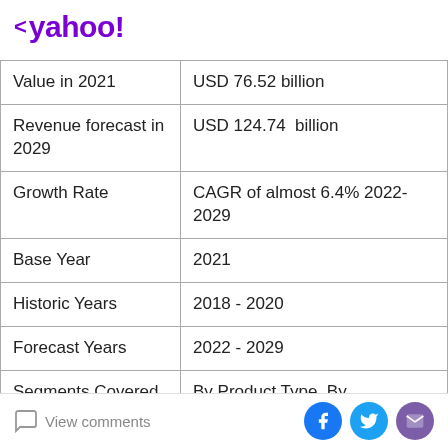< yahoo!
| Value in 2021 | USD 76.52 billion |
| Revenue forecast in 2029 | USD 124.74  billion |
| Growth Rate | CAGR of almost 6.4% 2022-2029 |
| Base Year | 2021 |
| Historic Years | 2018 - 2020 |
| Forecast Years | 2022 - 2029 |
| Segments Covered | By Product Type, By Application, and By Distribution Channel, By Region |
View comments